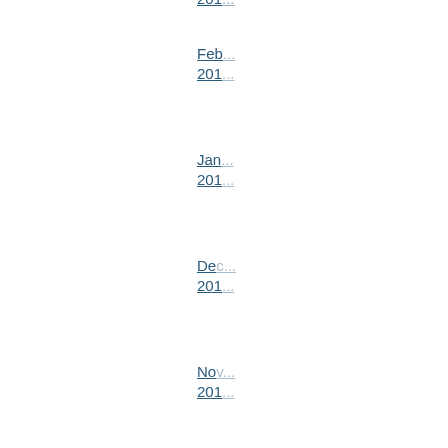201...
Feb
201...
Jan
201...
Dec
201...
Nov
201...
Oct
201...
Sep
201...
Aug
201...
Jul
201...
Jun
201...
Ma
201...